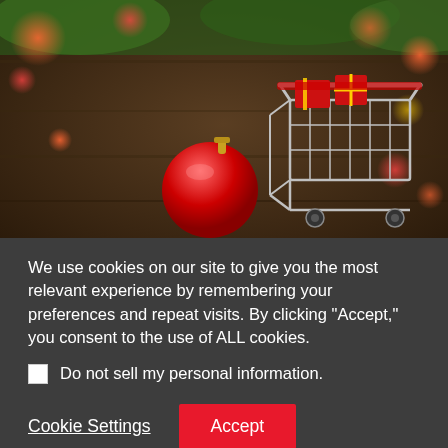[Figure (photo): A small silver shopping cart filled with wrapped red gifts, sitting on a dark wooden surface next to a red Christmas ornament, with green bokeh lights in the background.]
Holiday sales this year are expected to increase between 4.3% and 4.8% over 2017 levels, according to a new forecast from the National Retail Federation, a Washington, D.C.-based trade group. Those numbers compare to an average annual increase of 3.9% in the
We use cookies on our site to give you the most relevant experience by remembering your preferences and repeat visits. By clicking "Accept," you consent to the use of ALL cookies.
Do not sell my personal information.
Cookie Settings
Accept